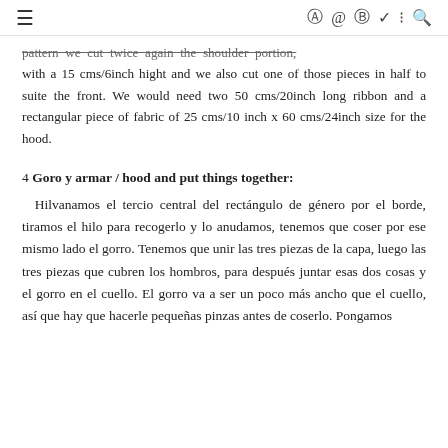≡  ⊙ f ℗ ✦ ⊏ 🔍
pattern we cut twice again the shoulder portion, with a 15 cms/6inch hight and we also cut one of those pieces in half to suite the front. We would need two 50 cms/20inch long ribbon and a rectangular piece of fabric of 25 cms/10 inch x 60 cms/24inch size for the hood.
4 Goro y armar / hood and put things together: Hilvanamos el tercio central del rectángulo de género por el borde, tiramos el hilo para recogerlo y lo anudamos, tenemos que coser por ese mismo lado el gorro. Tenemos que unir las tres piezas de la capa, luego las tres piezas que cubren los hombros, para después juntar esas dos cosas y el gorro en el cuello. El gorro va a ser un poco más ancho que el cuello, así que hay que hacerle pequeñas pinzas antes de coserlo. Pongamos